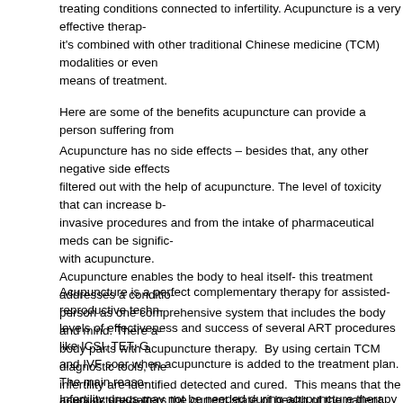treating conditions connected to infertility. Acupuncture is a very effective therapy when it's combined with other traditional Chinese medicine (TCM) modalities or even means of treatment.
Here are some of the benefits acupuncture can provide a person suffering from
Acupuncture has no side effects – besides that, any other negative side effects filtered out with the help of acupuncture. The level of toxicity that can increase by invasive procedures and from the intake of pharmaceutical meds can be significantly with acupuncture.
Acupuncture enables the body to heal itself- this treatment addresses a condition person as one comprehensive system that includes the body and mind. There are body parts with acupuncture therapy. By using certain TCM diagnostic tools, the infertility are identified detected and cured. This means that the person's body will strong enough to heal itself.
Acupuncture is a perfect complementary therapy for assisted-reproductive techniques levels of effectiveness and success of several ART procedures like ICSI, TET, G and IVF soar when acupuncture is added to the treatment plan. The main reason acupuncture betters the current state of health of the patient. When acupuncture Chinese herbal remedies is used, patients can experience the restoration of the of their endocrine system. Their overall health also gets better. Women attain p more easily and the postnatal recovery period gets accelerated with this treatment.
Infertility drugs may not be needed during acupuncture therapy – acupuncture